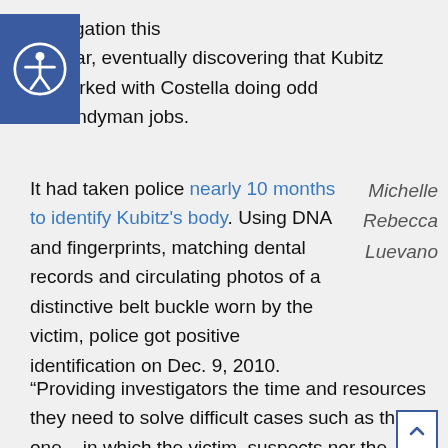[Figure (logo): Blue accessibility icon with person in circle]
stigation this year, eventually discovering that Kubitz worked with Costella doing odd handyman jobs.
It had taken police nearly 10 months to identify Kubitz's body. Using DNA and fingerprints, matching dental records and circulating photos of a distinctive belt buckle worn by the victim, police got positive identification on Dec. 9, 2010.
Michelle Rebecca Luevano
“Providing investigators the time and resources they need to solve difficult cases such as this one – in which the victim, suspects nor the crime itself, have any real